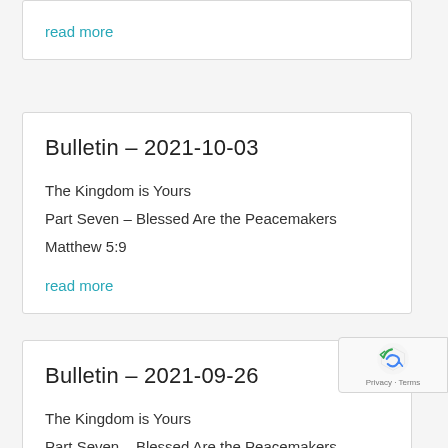read more
Bulletin – 2021-10-03
The Kingdom is Yours
Part Seven – Blessed Are the Peacemakers
Matthew 5:9
read more
Bulletin – 2021-09-26
The Kingdom is Yours
Part Seven – Blessed Are the Peacemakers